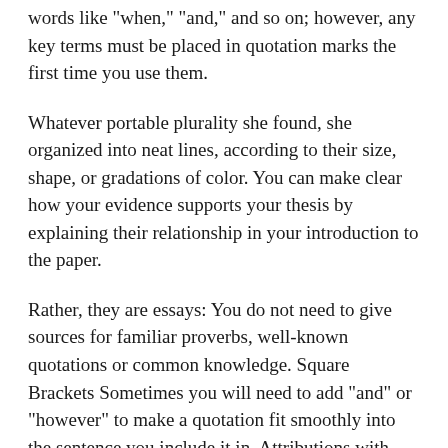words like "when," "and," and so on; however, any key terms must be placed in quotation marks the first time you use them.
Whatever portable plurality she found, she organized into neat lines, according to their size, shape, or gradations of color. You can make clear how your evidence supports your thesis by explaining their relationship in your introduction to the paper.
Rather, they are essays: You do not need to give sources for familiar proverbs, well-known quotations or common knowledge. Square Brackets Sometimes you will need to add "and" or "however" to make a quotation fit smoothly into the sentence you include it in. Attributions with Paraphrases and Summary In the examples below, the writer includes the name of the source, even though it is a paraphrase and not a direct quote.